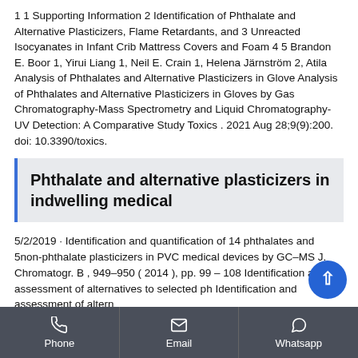1 1 Supporting Information 2 Identification of Phthalate and Alternative Plasticizers, Flame Retardants, and 3 Unreacted Isocyanates in Infant Crib Mattress Covers and Foam 4 5 Brandon E. Boor 1, Yirui Liang 1, Neil E. Crain 1, Helena Järnström 2, Atila Analysis of Phthalates and Alternative Plasticizers in Glove Analysis of Phthalates and Alternative Plasticizers in Gloves by Gas Chromatography-Mass Spectrometry and Liquid Chromatography-UV Detection: A Comparative Study Toxics . 2021 Aug 28;9(9):200. doi: 10.3390/toxics.
Phthalate and alternative plasticizers in indwelling medical
5/2/2019 · Identification and quantification of 14 phthalates and 5non-phthalate plasticizers in PVC medical devices by GC–MS J. Chromatogr. B , 949–950 ( 2014 ), pp. 99 – 108 Identification and assessment of alternatives to selected ph Identification and assessment of alternatives
Phone   Email   Whatsapp